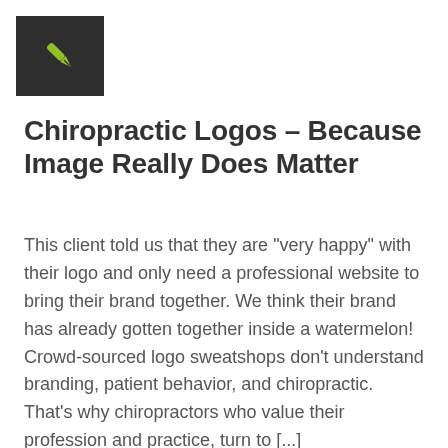[Figure (logo): Dark gray/charcoal square containing a yellow-green fountain pen nib icon]
Chiropractic Logos – Because Image Really Does Matter
This client told us that they are "very happy" with their logo and only need a professional website to bring their brand together. We think their brand has already gotten together inside a watermelon! Crowd-sourced logo sweatshops don't understand branding, patient behavior, and chiropractic. That's why chiropractors who value their profession and practice, turn to [...]